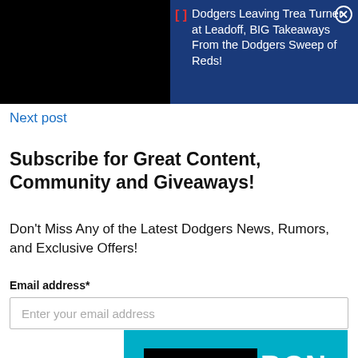[Figure (screenshot): Top navigation banner with black left side and dark blue right side. Contains a red bracket icon [·], and text 'Dodgers Leaving Trea Turner at Leadoff, BIG Takeaways From the Dodgers Sweep of Reds!' in white on dark blue background, with an X close button.]
Next post
Subscribe for Great Content, Community and Giveaways!
Don't Miss Any of the Latest Dodgers News, Rumors, and Exclusive Offers!
Email address*
Enter your email address
[Figure (logo): SHORE BCN logo on cyan/teal background. 'SHORE' in black box with white text, 'BCN' in white text on cyan. Wave design underneath with a horizontal line.]